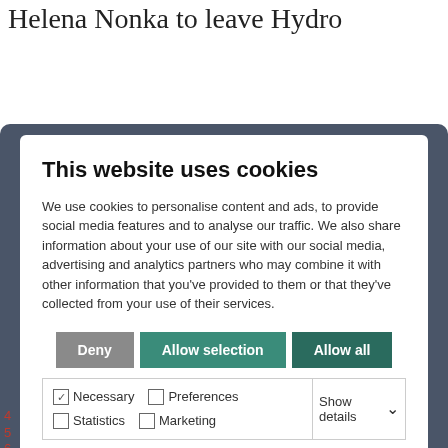Helena Nonka to leave Hydro
[Figure (screenshot): Cookie consent modal dialog overlaid on a webpage. Contains title 'This website uses cookies', descriptive text about cookie usage, three buttons (Deny, Allow selection, Allow all), and checkboxes for Necessary, Preferences, Statistics, Marketing with a 'Show details' dropdown.]
4
5
6